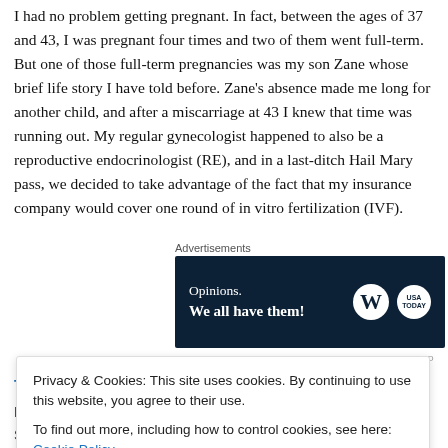I had no problem getting pregnant. In fact, between the ages of 37 and 43, I was pregnant four times and two of them went full-term. But one of those full-term pregnancies was my son Zane whose brief life story I have told before. Zane's absence made me long for another child, and after a miscarriage at 43 I knew that time was running out. My regular gynecologist happened to also be a reproductive endocrinologist (RE), and in a last-ditch Hail Mary pass, we decided to take advantage of the fact that my insurance company would cover one round of in vitro fertilization (IVF).
[Figure (screenshot): Advertisement banner: dark navy background with text 'Opinions. We all have them!' and WordPress W logo and USA Today logo circles on right side.]
Treating autism by targeting the gut
Date: June 19, 2017
Source: Frontiers
Privacy & Cookies: This site uses cookies. By continuing to use this website, you agree to their use.
To find out more, including how to control cookies, see here: Cookie Policy
Close and accept